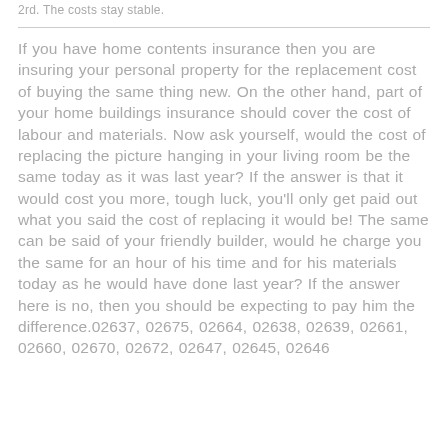2rd. The costs stay stable.
If you have home contents insurance then you are insuring your personal property for the replacement cost of buying the same thing new. On the other hand, part of your home buildings insurance should cover the cost of labour and materials. Now ask yourself, would the cost of replacing the picture hanging in your living room be the same today as it was last year? If the answer is that it would cost you more, tough luck, you'll only get paid out what you said the cost of replacing it would be! The same can be said of your friendly builder, would he charge you the same for an hour of his time and for his materials today as he would have done last year? If the answer here is no, then you should be expecting to pay him the difference.02637, 02675, 02664, 02638, 02639, 02661, 02660, 02670, 02672, 02647, 02645, 02646